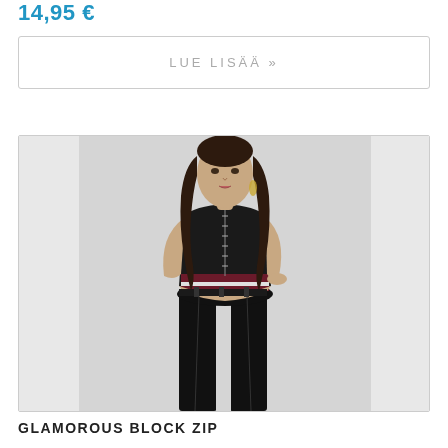14,95 €
LUE LISÄÄ »
[Figure (photo): Fashion product photo of a female model wearing a black sleeveless crop top with burgundy and white horizontal stripes at the hem and a front zipper, paired with black high-waisted jeans. The model has long dark wavy hair and is photographed against a white background.]
GLAMOROUS BLOCK ZIP